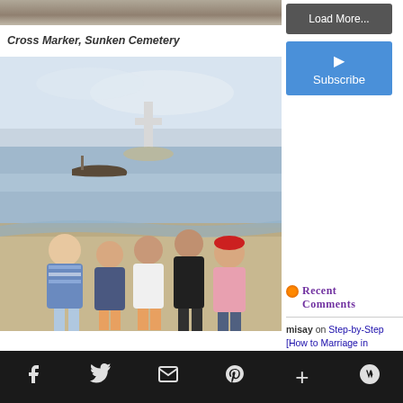[Figure (photo): Top strip of a photo showing sandy/rocky beach texture]
Cross Marker, Sunken Cemetery
[Figure (photo): Group photo of five young people standing on a beach with a large cross monument visible in the ocean water behind them, and a small boat in the water. The landmark is the Sunken Cemetery Cross in Camiguin, Philippines.]
Load More...
[Figure (other): YouTube Subscribe button with play icon]
Recent Comments
misay on Step-by-Step [How to Marriage in Sweden if you are Filipino]
Social share bar with icons: Facebook, Twitter, Email, Pinterest, Add, WordPress